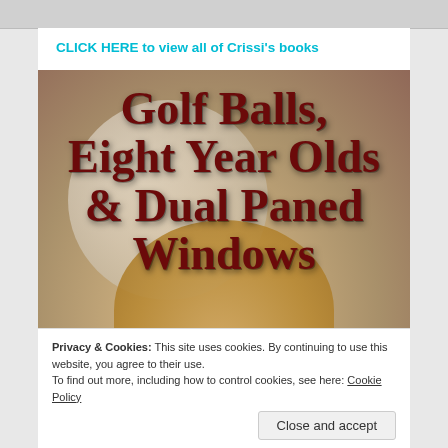CLICK HERE to view all of Crissi's books
[Figure (illustration): Book cover for 'Golf Balls, Eight Year Olds & Dual Paned Windows' showing large dark red serif text over a background with a golf ball and blond hair, brown and tan tones]
Privacy & Cookies: This site uses cookies. By continuing to use this website, you agree to their use.
To find out more, including how to control cookies, see here: Cookie Policy
Close and accept